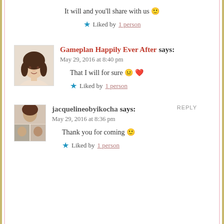It will and you'll share with us 🙂
★ Liked by 1 person
Gameplan Happily Ever After says:
May 29, 2016 at 8:40 pm
That I will for sure 😐 ❤️
★ Liked by 1 person
REPLY
jacquelineobyikocha says:
May 29, 2016 at 8:36 pm
Thank you for coming 🙂
★ Liked by 1 person